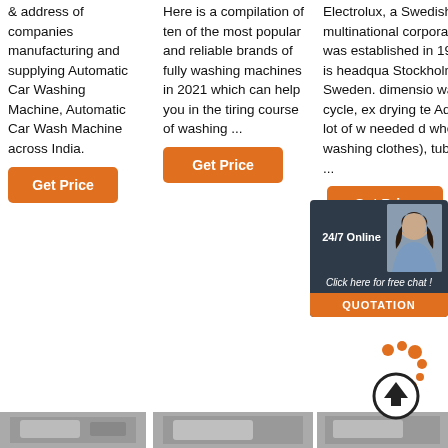& address of companies manufacturing and supplying Automatic Car Washing Machine, Automatic Car Wash Machine across India.
Get Price
Here is a compilation of ten of the most popular and reliable brands of fully washing machines in 2021 which can help you in the tiring course of washing ...
Get Price
Electrolux, a Swedish multinational corporation, was established in 1919 and is headquartered in Stockholm, Sweden. dimension waterfall cycle, ex drying te Aqua sa a lot of w needed d when washing clothes), tub clean, ...
Get Price
[Figure (screenshot): 24/7 online chat widget with woman photo, 'Click here for free chat!' text and QUOTATION button]
[Figure (photo): Bottom row of product/machine images]
[Figure (photo): Bottom row center product image]
[Figure (photo): Bottom row right product image]